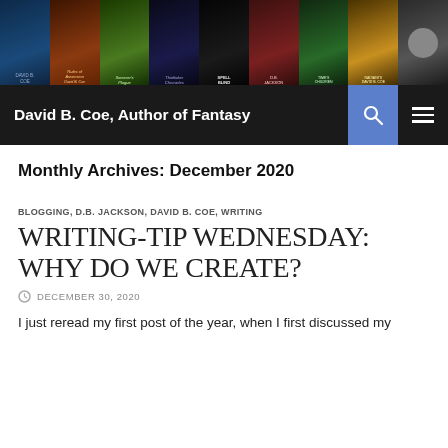[Figure (photo): Website header image strip showing multiple fantasy book covers by David B. Coe and D.B. Jackson, including Rules of Ascension, Sorcerer's Plague, Spell Blind, Time's Children, Radiants, plus author photo]
David B. Coe, Author of Fantasy
Monthly Archives: December 2020
BLOGGING, D.B. JACKSON, DAVID B. COE, WRITING
WRITING-TIP WEDNESDAY: WHY DO WE CREATE?
DECEMBER 30, 2020
I just reread my first post of the year, when I first discussed my